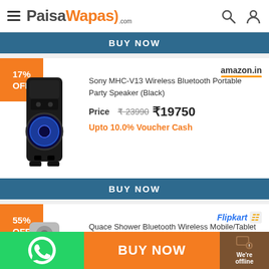PaisaWapas.com
BUY NOW
[Figure (photo): Sony MHC-V13 Wireless Bluetooth Portable Party Speaker product image, black tower speaker with blue woofer]
17% OFF
amazon.in
Sony MHC-V13 Wireless Bluetooth Portable Party Speaker (Black)
Price  ₹23990  ₹19750
Upto 10.0% Voucher Cash
BUY NOW
[Figure (photo): Quace Shower Bluetooth Wireless Mobile/Tablet Speaker product image, partially visible]
55% OFF
Flipkart
Quace Shower Bluetooth Wireless Mobile/Tablet Speaker
BUY NOW
We're offline